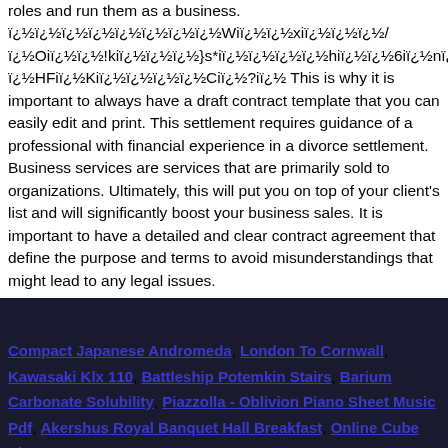roles and run them as a business. ï¿½ï¿½ï¿½ï¿½ï¿½ï¿½ï¿½ï¿½Wiï¿½ï¿½xiï¿½ï¿½ï¿½/ ï¿½Oiï¿½ï¿½!kiï¿½ï¿½ï¿½}s*iï¿½ï¿½ï¿½ï¿½hiï¿½ï¿½6iï¿½nï¿½iï¿½mAuiï¿½ï¿½]iï¿½5Pi ï¿½HFiï¿½Kiï¿½ï¿½ï¿½ï¿½Ciï¿½?iï¿½ This is why it is important to always have a draft contract template that you can easily edit and print. This settlement requires guidance of a professional with financial experience in a divorce settlement. Business services are services that are primarily sold to organizations. Ultimately, this will put you on top of your client's list and will significantly boost your business sales. It is important to have a detailed and clear contract agreement that define the purpose and terms to avoid misunderstandings that might lead to any legal issues.
Compact Japanese Andromeda, London To Cornwall, Kawasaki Klx 110, Battleship Potemkin Stairs, Barium Carbonate Solubility, Piazzolla - Oblivion Piano Sheet Music Pdf, Akershus Royal Banquet Hall Breakfast, Online Cube Shop,